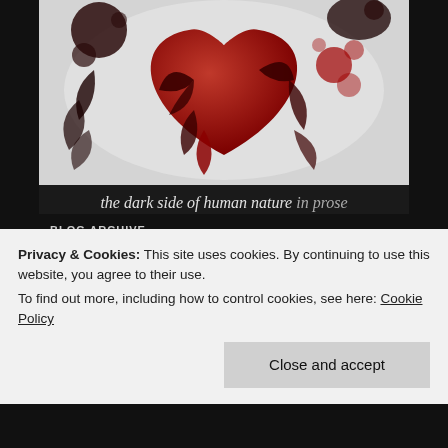[Figure (illustration): Blog banner image: a large red heart with dark baroque floral swirls on a grey/white grunge background. Text below reads: 'the dark side of human nature in prose' in italic serif font.]
BLOG ARCHIVE
April 2022
March 2022
January 2022
December 2021
Privacy & Cookies: This site uses cookies. By continuing to use this website, you agree to their use. To find out more, including how to control cookies, see here: Cookie Policy
Close and accept